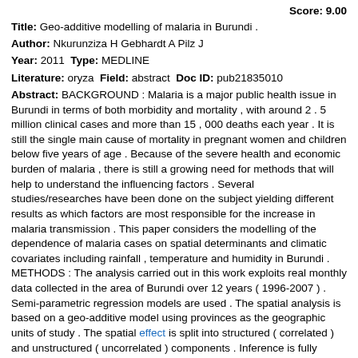Score: 9.00
Title: Geo-additive modelling of malaria in Burundi .
Author: Nkurunziza H Gebhardt A Pilz J
Year: 2011 Type: MEDLINE
Literature: oryza Field: abstract Doc ID: pub21835010
Abstract: BACKGROUND : Malaria is a major public health issue in Burundi in terms of both morbidity and mortality , with around 2 . 5 million clinical cases and more than 15 , 000 deaths each year . It is still the single main cause of mortality in pregnant women and children below five years of age . Because of the severe health and economic burden of malaria , there is still a growing need for methods that will help to understand the influencing factors . Several studies/researches have been done on the subject yielding different results as which factors are most responsible for the increase in malaria transmission . This paper considers the modelling of the dependence of malaria cases on spatial determinants and climatic covariates including rainfall , temperature and humidity in Burundi . METHODS : The analysis carried out in this work exploits real monthly data collected in the area of Burundi over 12 years ( 1996-2007 ) . Semi-parametric regression models are used . The spatial analysis is based on a geo-additive model using provinces as the geographic units of study . The spatial effect is split into structured ( correlated ) and unstructured ( uncorrelated ) components . Inference is fully Bayesian and uses Markov chain Monte Carlo techniques . The effects of the continuous covariates are modelled by cubic p-splines with 20 equidistant knots and second order random walk penalty . For the spatially correlated effect , Markov random field prior is chosen . The spatially uncorrelated effects are assumed to be i . i . d . Gaussian . The effects of climatic covariates and the effects of other spatial determinants